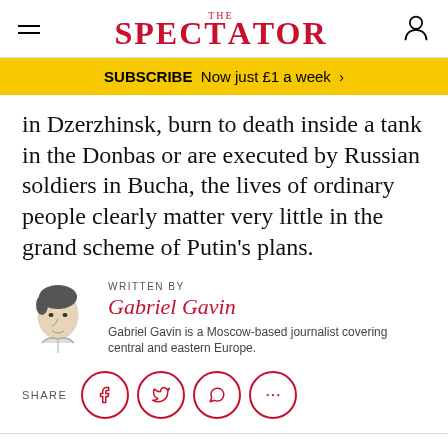THE SPECTATOR
SUBSCRIBE Now just £1 a week >
in Dzerzhinsk, burn to death inside a tank in the Donbas or are executed by Russian soldiers in Bucha, the lives of ordinary people clearly matter very little in the grand scheme of Putin's plans.
WRITTEN BY
Gabriel Gavin
Gabriel Gavin is a Moscow-based journalist covering central and eastern Europe.
SHARE
TOPICS  World / Russia / Ukraine / Communism / Joseph Stalin